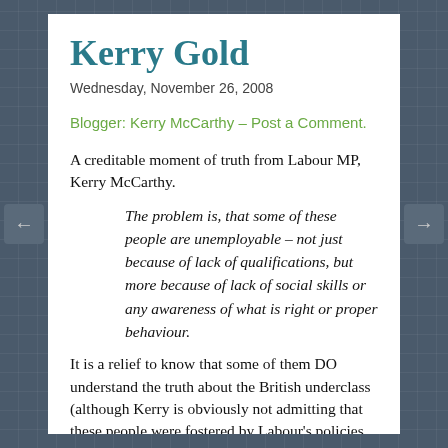Kerry Gold
Wednesday, November 26, 2008
Blogger: Kerry McCarthy – Post a Comment.
A creditable moment of truth from Labour MP, Kerry McCarthy.
The problem is, that some of these people are unemployable – not just because of lack of qualifications, but more because of lack of social skills or any awareness of what is right or proper behaviour.
It is a relief to know that some of them DO understand the truth about the British underclass (although Kerry is obviously not admitting that these people were fostered by Labour's policies on welfare benefits and